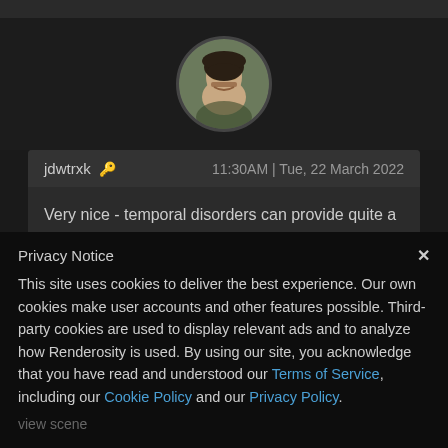[Figure (photo): Circular profile avatar photo of a man with dark hair and mustache, outdoors background]
jdwtrxk 🔑   11:30AM | Tue, 22 March 2022
Very nice - temporal disorders can provide quite a chain of potential scenes!
Privacy Notice
This site uses cookies to deliver the best experience. Our own cookies make user accounts and other features possible. Third-party cookies are used to display relevant ads and to analyze how Renderosity is used. By using our site, you acknowledge that you have read and understood our Terms of Service, including our Cookie Policy and our Privacy Policy.